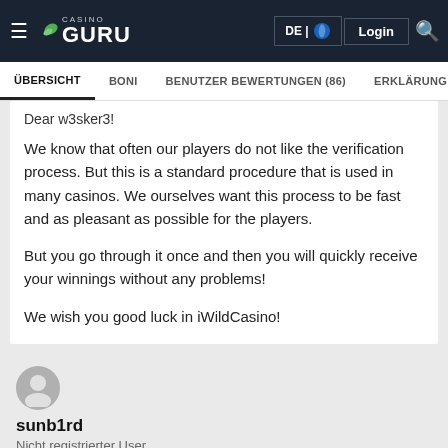Casino Guru | DE | Login
ÜBERSICHT | BONI | BENUTZER BEWERTUNGEN (86) | ERKLÄRUNG DER BEWE...
Dear w3sker3!
We know that often our players do not like the verification process. But this is a standard procedure that is used in many casinos. We ourselves want this process to be fast and as pleasant as possible for the players.
But you go through it once and then you will quickly receive your winnings without any problems!
We wish you good luck in iWildCasino!
sunb1rd
Nicht registrierter User